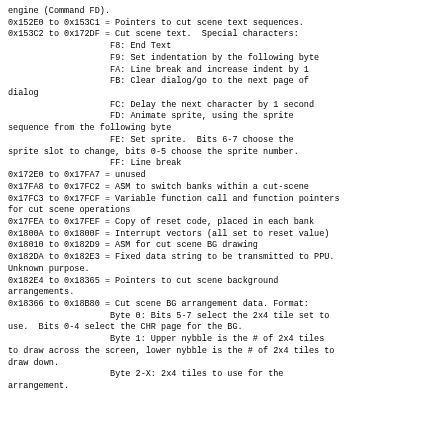engine (Command FD).
0x152E0 to 0x153C1 = Pointers to cut scene text sequences.
0x153C2 to 0x172DF = Cut scene text.  Special characters:
                    F8: End Text
                    F9: Set indentation by the following byte
                    FA: Line break and increase indent by 1
                    FB: Clear dialog/go to the next page of dialog
                    FC: Delay the next character by 1 second
                    FD: Animate sprite, using the sprite sequence from the following byte
                    FE: Set sprite.  Bits 6-7 choose the sprite slot to change, bits 0-5 choose the sprite number.
                    FF: Line break
0x172E0 to 0x17FA7 = unused
0x17FA8 to 0x17FC2 = ASM to switch banks within a cut-scene
0x17FC3 to 0x17FCF = Variable function call and function pointers for cut scene operations
0x17FEA to 0x17FEF = Copy of reset code, placed in each bank
0x1800A to 0x1800F = Interrupt vectors (all set to reset value)
0x18010 to 0x182D9 = ASM for cut scene BG drawing
0x182DA to 0x182E3 = Fixed data string to be transmitted to PPU. Unknown purpose.
0x182E4 to 0x18365 = Pointers to cut scene background arrangements.
0x18366 to 0x18B80 = Cut scene BG arrangement data. Format:
                    Byte 0: Bits 5-7 select the 2x4 tile set to use.  Bits 0-4 select the CHR page for the BG.
                    Byte 1: Upper nybble is the # of 2x4 tiles to draw across the screen, lower nybble is the # of 2x4 tiles to draw down.
                    Byte 2-X: 2x4 tiles to use for the arrangement.